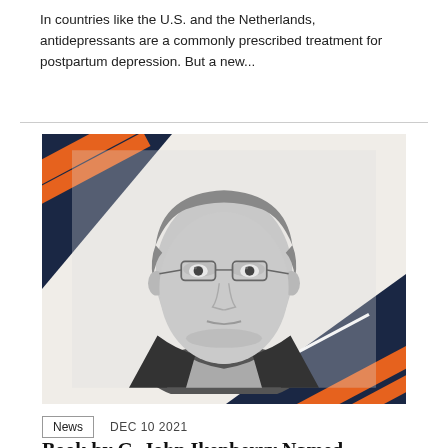In countries like the U.S. and the Netherlands, antidepressants are a commonly prescribed treatment for postpartum depression. But a new...
[Figure (photo): Black-and-white headshot portrait of G. John Ikenberry wearing glasses and a dark suit, against a stylized background with dark navy triangles and orange diagonal stripes.]
News   DEC 10 2021
Book by G. John Ikenberry Named